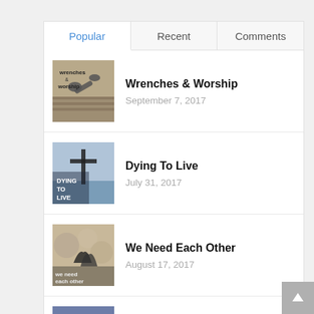Popular | Recent | Comments
Wrenches & Worship
September 7, 2017
Dying To Live
July 31, 2017
We Need Each Other
August 17, 2017
CHOOSING TO PREPARE FOR WORSHIP
September 16, 2017